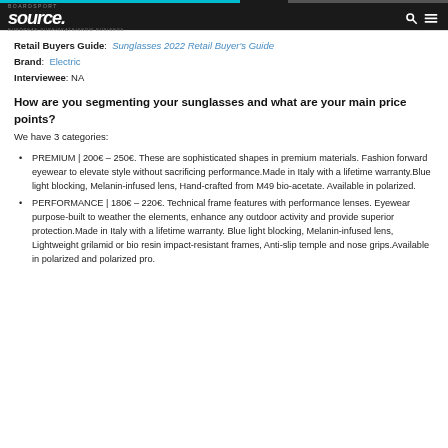BOARDSPORT SOURCE. European Surf/Skate/Snow Business
Retail Buyers Guide: Sunglasses 2022 Retail Buyer's Guide
Brand: Electric
Interviewee: NA
How are you segmenting your sunglasses and what are your main price points?
We have 3 categories:
PREMIUM | 200€ – 250€. These are sophisticated shapes in premium materials. Fashion forward eyewear to elevate style without sacrificing performance.Made in Italy with a lifetime warranty.Blue light blocking, Melanin-infused lens, Hand-crafted from M49 bio-acetate. Available in polarized.
PERFORMANCE | 180€ – 220€. Technical frame features with performance lenses. Eyewear purpose-built to weather the elements, enhance any outdoor activity and provide superior protection.Made in Italy with a lifetime warranty. Blue light blocking, Melanin-infused lens, Lightweight grilamid or bio resin impact-resistant frames, Anti-slip temple and nose grips.Available in polarized and polarized pro.